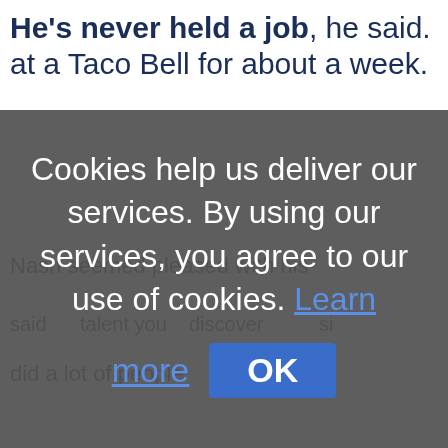He's never held a job, he said. at a Taco Bell for about a week.
Nash seemed pleased with his
said talent you discover si
did a lot of people
Cookies help us deliver our services. By using our services, you agree to our use of cookies. Learn more OK